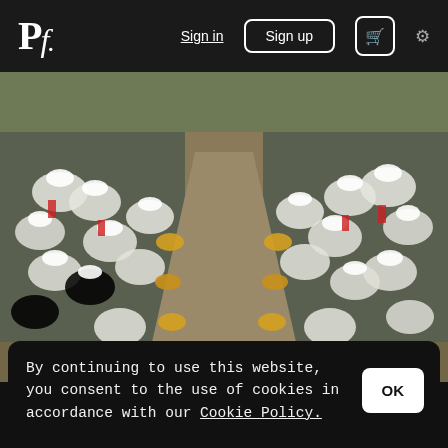Pf. | Sign in | Sign up | 🛒 | ⚙
[Figure (photo): Large group of people dressed in white traditional clothing and white head wraps, seated on both sides of a long stone pathway, with colorful woven baskets of offerings placed in front of them during a ceremonial gathering outdoors.]
By continuing to use this website, you consent to the use of cookies in accordance with our Cookie Policy.